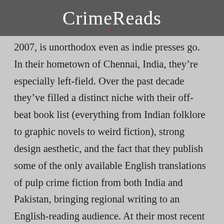CrimeReads
2007, is unorthodox even as indie presses go. In their hometown of Chennai, India, they’re especially left-field. Over the past decade they’ve filled a distinct niche with their off-beat book list (everything from Indian folklore to graphic novels to weird fiction), strong design aesthetic, and the fact that they publish some of the only available English translations of pulp crime fiction from both India and Pakistan, bringing regional writing to an English-reading audience. At their most recent book launch, a welcoming open-air event at an indie bookstore with intrigued passers-by stopping to watch, co-founder Rakesh Khanna and translator Nirmal Rajagopalan talked about and read